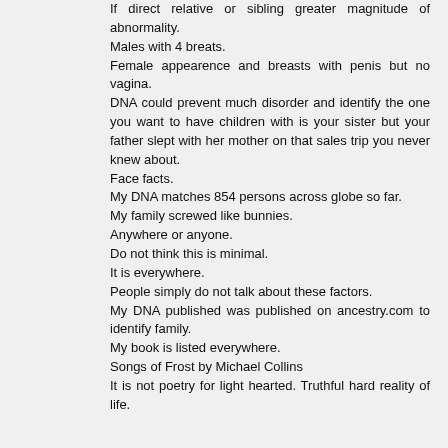If direct relative or sibling greater magnitude of abnormality. Males with 4 breats. Female appearence and breasts with penis but no vagina. DNA could prevent much disorder and identify the one you want to have children with is your sister but your father slept with her mother on that sales trip you never knew about. Face facts. My DNA matches 854 persons across globe so far. My family screwed like bunnies. Anywhere or anyone. Do not think this is minimal. It is everywhere. People simply do not talk about these factors. My DNA published was published on ancestry.com to identify family. My book is listed everywhere. Songs of Frost by Michael Collins It is not poetry for light hearted. Truthful hard reality of life.